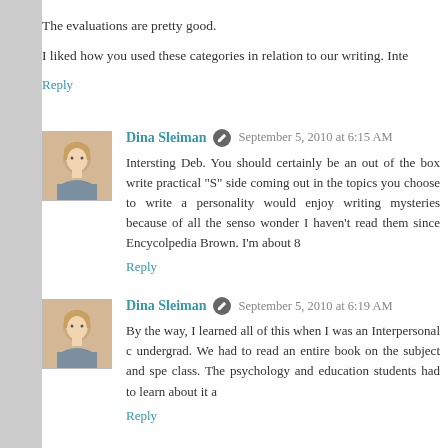The evaluations are pretty good.
I liked how you used these categories in relation to our writing. Inte
Reply
Dina Sleiman  September 5, 2010 at 6:15 AM
Intersting Deb. You should certainly be an out of the box write practical "S" side coming out in the topics you choose to write a personality would enjoy writing mysteries because of all the senso wonder I haven't read them since Encycolpedia Brown. I'm about 8
Reply
Dina Sleiman  September 5, 2010 at 6:19 AM
By the way, I learned all of this when I was an Interpersonal c undergrad. We had to read an entire book on the subject and spe class. The psychology and education students had to learn about it a
Reply